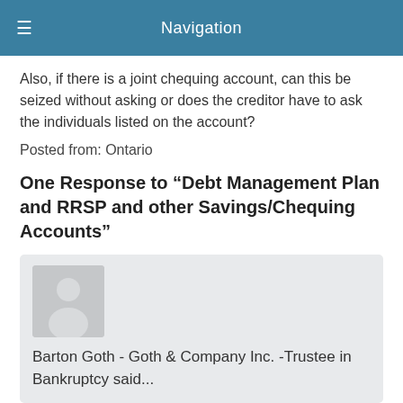Navigation
Also, if there is a joint chequing account, can this be seized without asking or does the creditor have to ask the individuals listed on the account?
Posted from: Ontario
One Response to “Debt Management Plan and RRSP and other Savings/Chequing Accounts”
Barton Goth - Goth & Company Inc. -Trustee in Bankruptcy said...